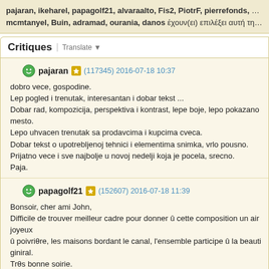pajaran, ikeharel, papagolf21, alvaraalto, Fis2, PiotrF, pierrefonds, ChrisJ, mcmtanyel, Buin, adramad, ourania, danos έχουν(ει) επιλέξει αυτή τη σημεία
Critiques | Translate
pajaran (117345) 2016-07-18 10:37

dobro vece, gospodine.
Lep pogled i trenutak, interesantan i dobar tekst ...
Dobar rad, kompozicija, perspektiva i kontrast, lepe boje, lepo pokazano mesto.
Lepo uhvacen trenutak sa prodavcima i kupcima cveca.
Dobar tekst o upotrebljenoj tehnici i elementima snimka, vrlo pousno.
Prijatno vece i sve najbolje u novoj nedelji koja je pocela, srecno.
Paja.
papagolf21 (152607) 2016-07-18 11:39

Bonsoir, cher ami John,
Difficile de trouver meilleur cadre pour donner û cette composition un air joyeux...
û poivriθre, les maisons bordant le canal, l'ensemble participe û la beauti giniral.
Trθs bonne soirie.
Encore merci, cher ami Joh pour ton message de gentillesse û propos de l'atten...
Amitiis.